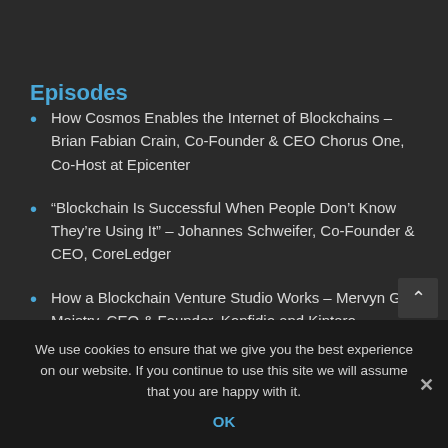Episodes
How Cosmos Enables the Internet of Blockchains – Brian Fabian Crain, Co-Founder & CEO Chorus One, Co-Host at Epicenter
“Blockchain Is Successful When People Don’t Know They’re Using It” – Johannes Schweifer, Co-Founder & CEO, CoreLedger
How a Blockchain Venture Studio Works – Mervyn G. Maistry, CEO & Founder, Konfidio and Kintaro
We use cookies to ensure that we give you the best experience on our website. If you continue to use this site we will assume that you are happy with it.
OK